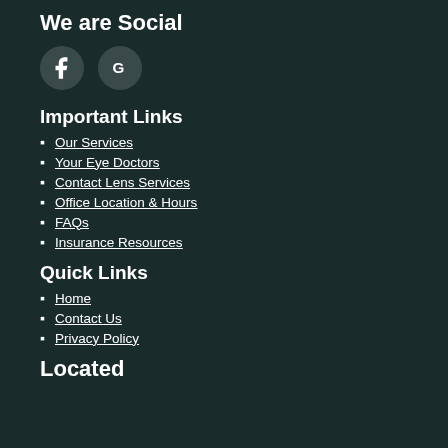We are Social
[Figure (illustration): Two social media icon circles: Facebook (F) and Google (G) on a dark teal background]
Important Links
Our Services
Your Eye Doctors
Contact Lens Services
Office Location & Hours
FAQs
Insurance Resources
Quick Links
Home
Contact Us
Privacy Policy
Located